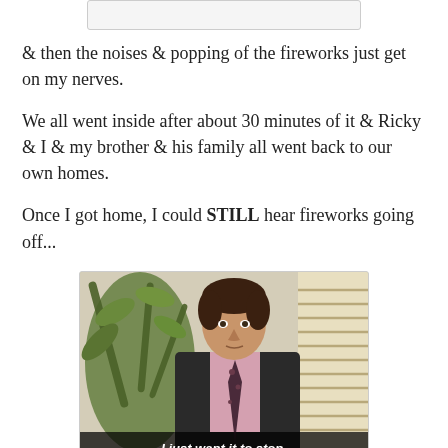[Figure (other): Partially visible image cropped at top of page]
& then the noises & popping of the fireworks just get on my nerves.
We all went inside after about 30 minutes of it & Ricky & I & my brother & his family all went back to our own homes.
Once I got home, I could STILL hear fireworks going off...
[Figure (screenshot): Screenshot from The Office TV show with a man in a suit sitting in front of a plant and window blinds, with subtitle text 'I just want it to stop.']
What started out at something exciting & beautiful, turned into something that seemed ordinary & then eventually just annoyed me...